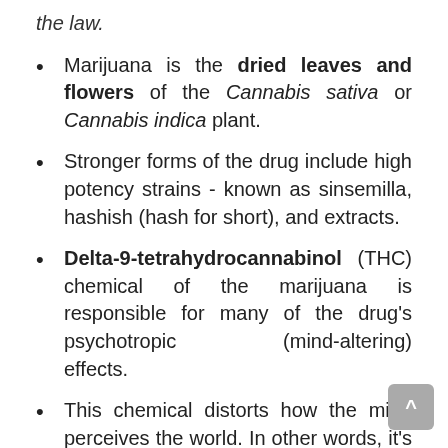the law.
Marijuana is the dried leaves and flowers of the Cannabis sativa or Cannabis indica plant.
Stronger forms of the drug include high potency strains - known as sinsemilla, hashish (hash for short), and extracts.
Delta-9-tetrahydrocannabinol (THC) chemical of the marijuana is responsible for many of the drug's psychotropic (mind-altering) effects.
This chemical distorts how the mind perceives the world. In other words, it's what makes a person